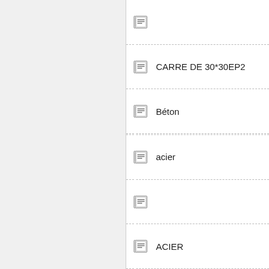CARRE DE 30*30EP2
Béton
acier
ACIER